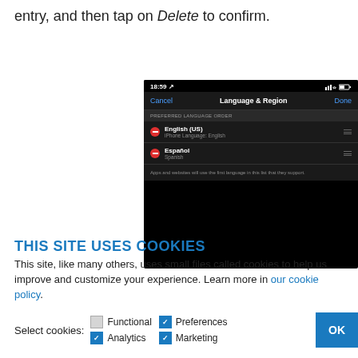entry, and then tap on Delete to confirm.
[Figure (screenshot): iOS Language & Region settings screen showing Preferred Language Order with English (US) as iPhone Language and Español (Spanish) listed, both with drag handles and remove buttons. Status bar shows 18:59 time.]
THIS SITE USES COOKIES
This site, like many others, uses small files called cookies to help us improve and customize your experience. Learn more in our cookie policy.
Select cookies: Functional (unchecked), Preferences (checked), Analytics (checked), Marketing (checked)